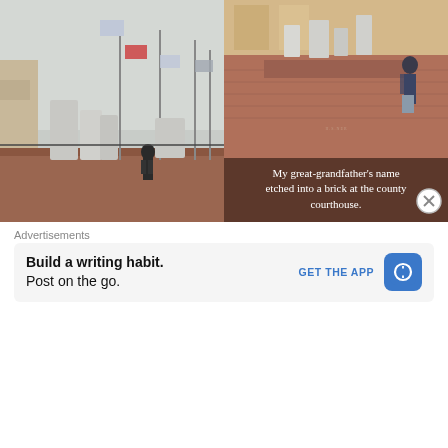[Figure (photo): Photo of person standing near war memorial monuments with flags at a courthouse or public building, overcast sky, brick wall in background.]
[Figure (photo): Photo of brick courtyard/plaza with person standing near grave markers or memorial stones in front of a historic building. Overlay caption reads: My great-grandfather's name etched into a brick at the county courthouse.]
My great-grandfather's name etched into a brick at the county courthouse.
McClard's BBQ
Another fun stop we made while in Arkansas was
Advertisements
Build a writing habit.
Post on the go.
GET THE APP